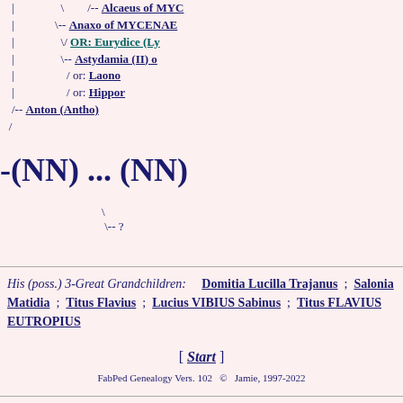[Figure (other): Genealogy tree diagram showing ancestry lines with names: Alcaeus of MYC..., Anaxo of MYCENAE, OR: Eurydice (Ly..., Astydamia (II) o..., / or: Laono..., / or: Hippor..., /-- Anton (Antho), (NN) ... (NN), \-- ?]
His (poss.) 3-Great Grandchildren: Domitia Lucilla Trajanus ; Salonia Matidia ; Titus Flavius ; Lucius VIBIUS Sabinus ; Titus FLAVIUS EUTROPIUS
[ Start ]
FabPed Genealogy Vers. 102  ©   Jamie, 1997-2022